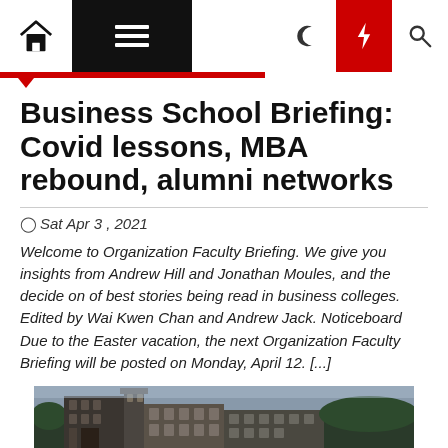Navigation bar with home, menu, moon, bolt, and search icons
Business School Briefing: Covid lessons, MBA rebound, alumni networks
Sat Apr 3 , 2021
Welcome to Organization Faculty Briefing. We give you insights from Andrew Hill and Jonathan Moules, and the decide on of best stories being read in business colleges. Edited by Wai Kwen Chan and Andrew Jack. Noticeboard Due to the Easter vacation, the next Organization Faculty Briefing will be posted on Monday, April 12. [...]
[Figure (photo): Partial view of a dark historic building exterior, bottom of page]